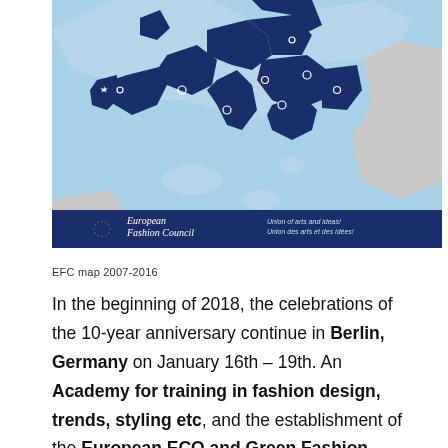[Figure (map): EFC map showing Europe and surrounding regions 2007-2016. Countries shaded in dark navy blue represent European Fashion Council member states across Europe and parts of the Middle East. Light blue shading covers additional European and Mediterranean countries. The map includes circle markers on various cities. A dark blue banner at the bottom shows the European Fashion Council logo with star circle emblem and the tagline 'Union of arts and ideas / Union des arts et des idées'.]
EFC map 2007-2016
In the beginning of 2018, the celebrations of the 10-year anniversary continue in Berlin, Germany on January 16th – 19th. An Academy for training in fashion design, trends, styling etc, and the establishment of the European ECO and Green Fashion Week are the events, which will be in preparation during the Eco fashion show during the